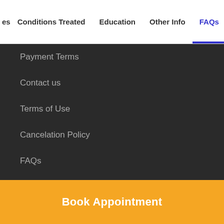es  Conditions Treated  Education  Other Info  FAQs
Payment Terms
Contact us
Terms of Use
Cancelation Policy
FAQs
Process
Major Cities
Karachi
Book Appointment